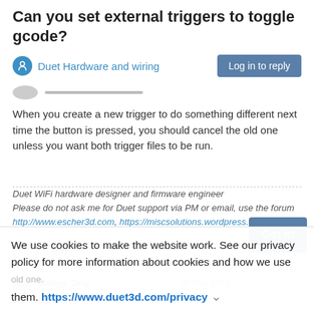Can you set external triggers to toggle gcode?
Duet Hardware and wiring
When you create a new trigger to do something different next time the button is pressed, you should cancel the old one unless you want both trigger files to be run.
Duet WiFi hardware designer and firmware engineer
Please do not ask me for Duet support via PM or email, use the forum
http://www.escher3d.com, https://miscsolutions.wordpress.com
1 Reply >
Mangy_Dog
26 Mar 2019
@dc42 Oh how do you cancel the old one?
We use cookies to make the website work. See our privacy policy for more information about cookies and how we use them. https://www.duet3d.com/privacy